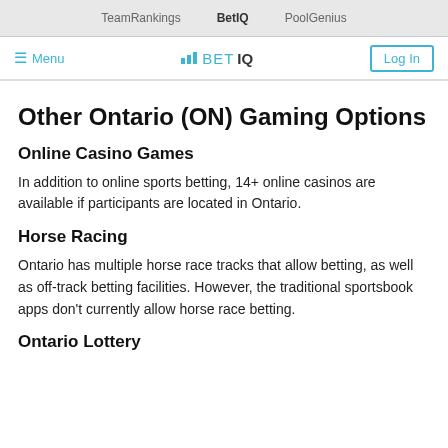TeamRankings  BetIQ  PoolGenius
≡ Menu  BetIQ  Log In
Other Ontario (ON) Gaming Options
Online Casino Games
In addition to online sports betting, 14+ online casinos are available if participants are located in Ontario.
Horse Racing
Ontario has multiple horse race tracks that allow betting, as well as off-track betting facilities. However, the traditional sportsbook apps don't currently allow horse race betting.
Ontario Lottery